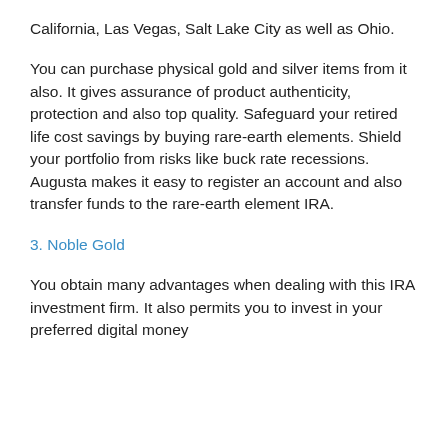California, Las Vegas, Salt Lake City as well as Ohio.
You can purchase physical gold and silver items from it also. It gives assurance of product authenticity, protection and also top quality. Safeguard your retired life cost savings by buying rare-earth elements. Shield your portfolio from risks like buck rate recessions. Augusta makes it easy to register an account and also transfer funds to the rare-earth element IRA.
3. Noble Gold
You obtain many advantages when dealing with this IRA investment firm. It also permits you to invest in your preferred digital money